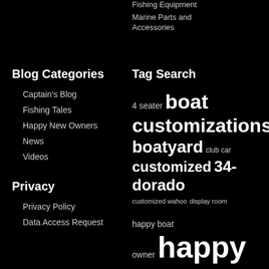Fishing Equipment
Marine Parts and Accessories
Blog Categories
Captain's Blog
Fishing Tales
Happy New Owners
News
Videos
Privacy
Privacy Policy
Data Access Request
Tag Search
4 seater boat customizations boatyard club car customized 34-dorado customized wahoo display room happy boat owner happy owner new boat new golf cart onward golf cart service center